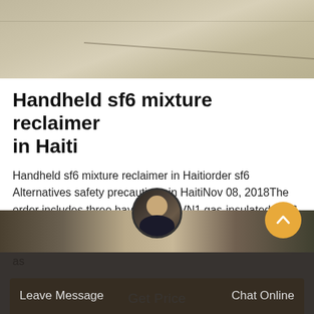[Figure (photo): Top photo showing a concrete or paved surface, light tan/gray color with a diagonal line/crack visible]
Handheld sf6 mixture reclaimer in Haiti
Handheld sf6 mixture reclaimer in Haitiorder sf6 Alternatives safety precautions in HaitiNov 08, 2018The order includes three bays of the 8VN1 gas-insulated, SF6-free 145 kV switchgear. This GIS uses vacuum interrupters for switching functions and treated air, known as
[Figure (other): Orange/amber 'Get Price' button]
[Figure (photo): Bottom section showing dark industrial background with a customer service agent avatar circle in the center, scroll-to-top button on the right, Leave Message on the left and Chat Online on the right in a dark bar]
Leave Message
Chat Online